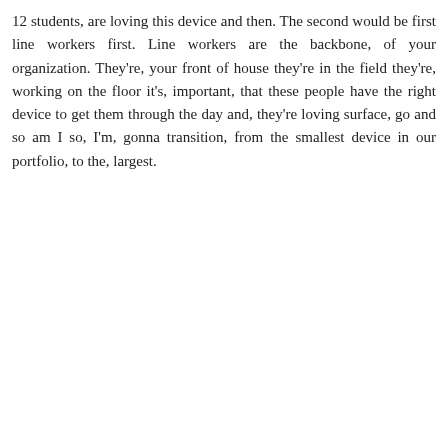12 students, are loving this device and then. The second would be first line workers first. Line workers are the backbone, of your organization. They're, your front of house they're in the field they're, working on the floor it's, important, that these people have the right device to get them through the day and, they're loving surface, go and so am I so, I'm, gonna transition, from the smallest device in our portfolio, to the, largest.